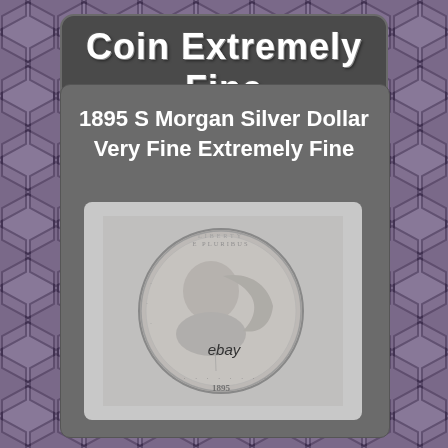Coin Extremely Fine
1895 S Morgan Silver Dollar Very Fine Extremely Fine
[Figure (photo): Obverse of an 1895-S Morgan Silver Dollar coin showing Lady Liberty profile, surrounded by stars, with 1895 date visible at bottom.]
ebay